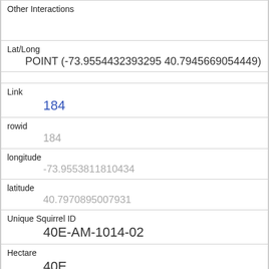| Other Interactions |  |
| Lat/Long | POINT (-73.9554432393295 40.7945669054449) |
| Link | 184 |
| rowid | 184 |
| longitude | -73.9553811810434 |
| latitude | 40.7970895007931 |
| Unique Squirrel ID | 40E-AM-1014-02 |
| Hectare | 40E |
| Shift | AM |
| Date | 10142018 |